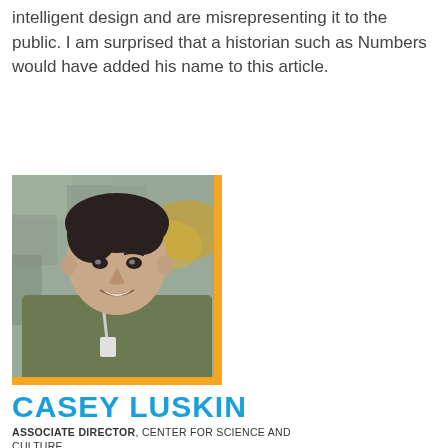intelligent design and are misrepresenting it to the public. I am surprised that a historian such as Numbers would have added his name to this article.
[Figure (photo): Headshot photo of Casey Luskin, a man with dark hair wearing a green jacket, with an orange border on the right and bottom edges of the photo.]
CASEY LUSKIN
ASSOCIATE DIRECTOR, CENTER FOR SCIENCE AND CULTURE